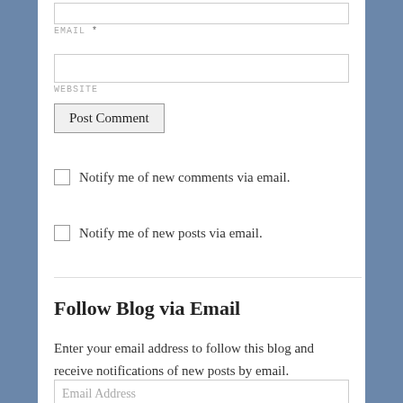EMAIL *
WEBSITE
Post Comment
Notify me of new comments via email.
Notify me of new posts via email.
Follow Blog via Email
Enter your email address to follow this blog and receive notifications of new posts by email.
Email Address